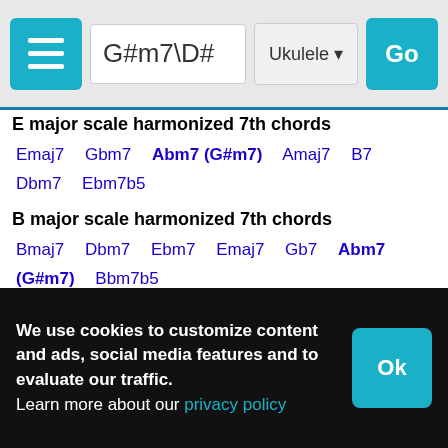G#m7\D# | Ukulele | Go
E major scale harmonized 7th chords
Emaj7  Gbm7  Abm7 (G#m7)  Amaj7  B7  Dbm7  Ebm7b5
B major scale harmonized 7th chords
Bmaj7  Dbm7  Ebm7  Emaj7  Gb7  Abm7 (G#m7)  Bbm7b5
G# natural minor scale harmonized 7th chords
G#m7  A#m7b5  Bmaj7  C#m7  D#m7  Emaj7  F#7
D# natural minor scale harmonized 7th chords
We use cookies to customize content and ads, social media features and to evaluate our traffic. Learn more about our privacy policy